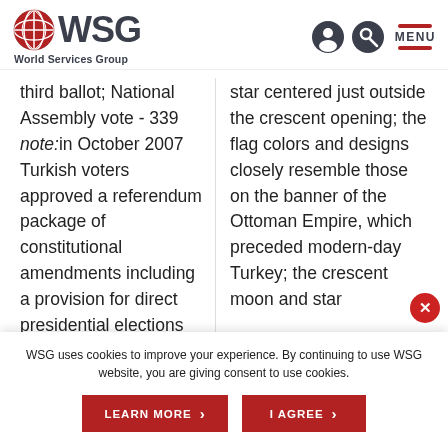WSG World Services Group
third ballot; National Assembly vote - 339 note:in October 2007 Turkish voters approved a referendum package of constitutional amendments including a provision for direct presidential elections
star centered just outside the crescent opening; the flag colors and designs closely resemble those on the banner of the Ottoman Empire, which preceded modern-day Turkey; the crescent moon and star
WSG uses cookies to improve your experience. By continuing to use WSG website, you are giving consent to use cookies.
LEARN MORE
I AGREE